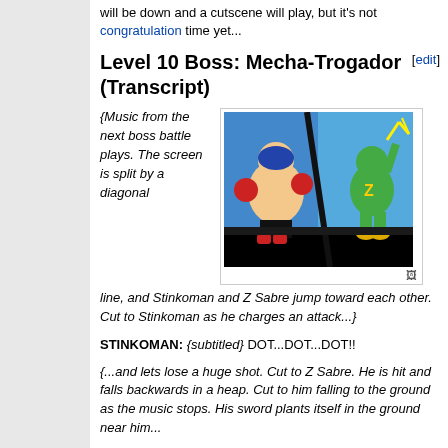will be down and a cutscene will play, but it's not congratulation time yet...
Level 10 Boss: Mecha-Trogador (Transcript)
{Music from the next boss battle plays. The screen is split by a diagonal line, and Stinkoman and Z Sabre jump toward each other. Cut to Stinkoman as he charges an attack...}
[Figure (screenshot): Screenshot from a video game showing two characters facing each other on a split screen divided by a diagonal line. Left character is a muscular blue-masked boxer. Right character is a green reptilian character with a Z on its body holding lightning.]
STINKOMAN: {subtitled} DOT...DOT...DOT!!
{...and lets lose a huge shot. Cut to Z Sabre. He is hit and falls backwards in a heap. Cut to him falling to the ground as the music stops. His sword plants itself in the ground near him...